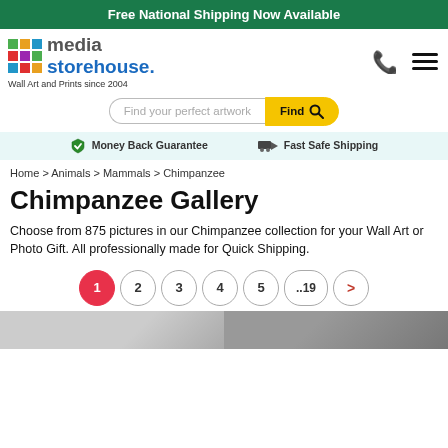Free National Shipping Now Available
[Figure (logo): Media Storehouse logo with colorful grid icon, text 'media storehouse.' and tagline 'Wall Art and Prints since 2004']
Find your perfect artwork
Money Back Guarantee   Fast Safe Shipping
Home > Animals > Mammals > Chimpanzee
Chimpanzee Gallery
Choose from 875 pictures in our Chimpanzee collection for your Wall Art or Photo Gift. All professionally made for Quick Shipping.
1  2  3  4  5  ..19  >
[Figure (photo): Partial bottom strip showing two cropped chimpanzee photos in black and white]